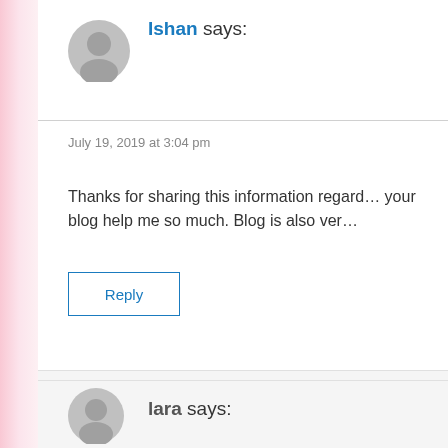Ishan says:
July 19, 2019 at 3:04 pm
Thanks for sharing this information regard… your blog help me so much. Blog is also ver…
Reply
lara says: